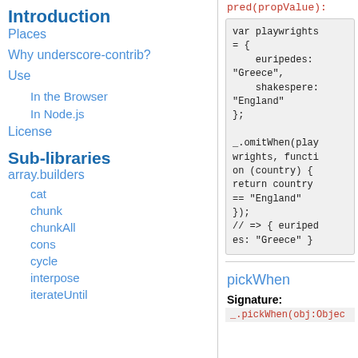Introduction
Places
Why underscore-contrib?
Use
In the Browser
In Node.js
License
Sub-libraries
array.builders
cat
chunk
chunkAll
cons
cycle
interpose
iterateUntil
pred(propValue):
[Figure (screenshot): Code block showing var playwrights = { euripedes: "Greece", shakespere: "England" }; _.omitWhen(playwrights, function (country) { return country == "England" }); // => { euripedes: "Greece" }]
pickWhen
Signature:
_.pickWhen(obj:Objec